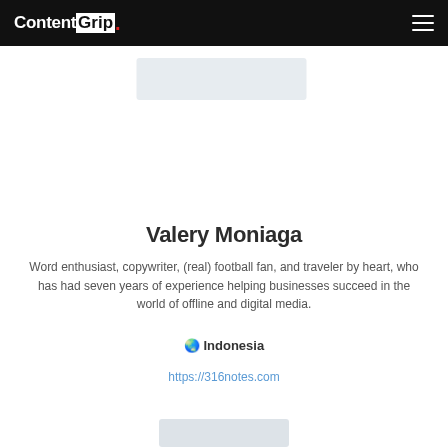ContentGrip.
[Figure (photo): Blurred profile/cover image placeholder at the top of the author page]
Valery Moniaga
Word enthusiast, copywriter, (real) football fan, and traveler by heart, who has had seven years of experience helping businesses succeed in the world of offline and digital media.
🌏 Indonesia
https://316notes.com
[Figure (photo): Partial image visible at the bottom of the page]